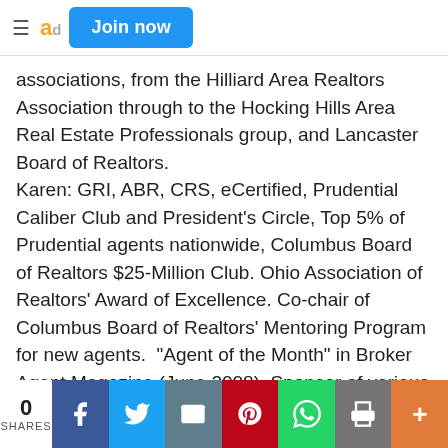Join now
associations, from the Hilliard Area Realtors Association through to the Hocking Hills Area Real Estate Professionals group, and Lancaster Board of Realtors. Karen: GRI, ABR, CRS, eCertified, Prudential Caliber Club and President's Circle, Top 5% of Prudential agents nationwide, Columbus Board of Realtors $25-Million Club. Ohio Association of Realtors' Award of Excellence. Co-chair of Columbus Board of Realtors' Mentoring Program for new agents.  "Agent of the Month" in Broker Agent Magazine (June 2008). Sponsor of various local teams
0 SHARES | f | twitter | email | pinterest | whatsapp | print | +